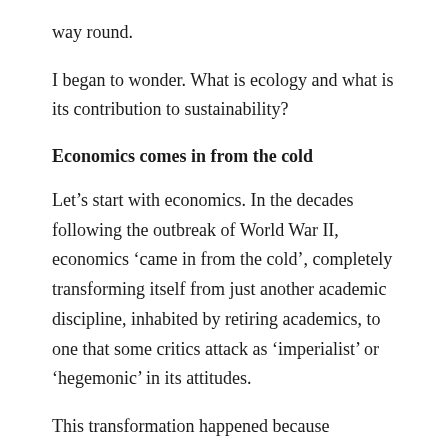way round.
I began to wonder. What is ecology and what is its contribution to sustainability?
Economics comes in from the cold
Let’s start with economics. In the decades following the outbreak of World War II, economics ‘came in from the cold’, completely transforming itself from just another academic discipline, inhabited by retiring academics, to one that some critics attack as ‘imperialist’ or ‘hegemonic’ in its attitudes.
This transformation happened because governments invited economists into the very heart of government.
First, they are put to the use of ‘cost-benefit analysis’